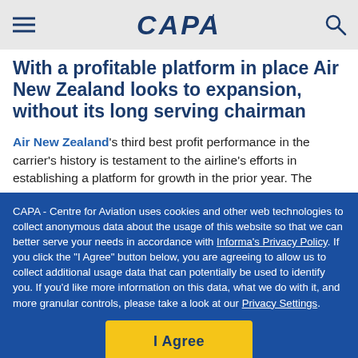CAPA
With a profitable platform in place Air New Zealand looks to expansion, without its long serving chairman
Air New Zealand's third best profit performance in the carrier's history is testament to the airline's efforts in establishing a platform for growth in the prior year. The
CAPA - Centre for Aviation uses cookies and other web technologies to collect anonymous data about the usage of this website so that we can better serve your needs in accordance with Informa's Privacy Policy. If you click the "I Agree" button below, you are agreeing to allow us to collect additional usage data that can potentially be used to identify you. If you'd like more information on this data, what we do with it, and more granular controls, please take a look at our Privacy Settings.
I Agree